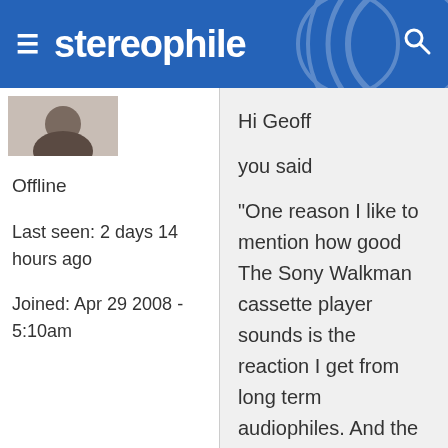stereophile
[Figure (photo): Small avatar/profile image thumbnail in top left of content area]
Offline
Last seen: 2 days 14 hours ago
Joined: Apr 29 2008 - 5:10am
Hi Geoff
you said
"One reason I like to mention how good The Sony Walkman cassette player sounds is the reaction I get from long term audiophiles. And the more I